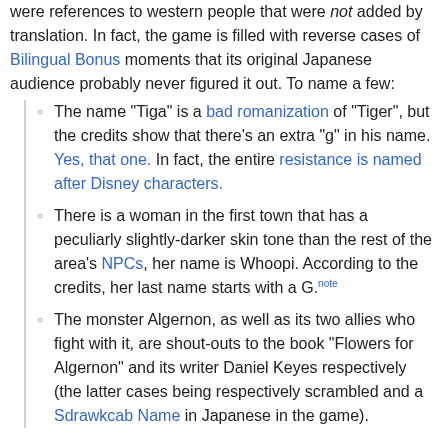were references to western people that were not added by translation. In fact, the game is filled with reverse cases of Bilingual Bonus moments that its original Japanese audience probably never figured it out. To name a few:
The name "Tiga" is a bad romanization of "Tiger", but the credits show that there's an extra "g" in his name. Yes, that one. In fact, the entire resistance is named after Disney characters.
There is a woman in the first town that has a peculiarly slightly-darker skin tone than the rest of the area's NPCs, her name is Whoopi. According to the credits, her last name starts with a G.[note]
The monster Algernon, as well as its two allies who fight with it, are shout-outs to the book "Flowers for Algernon" and its writer Daniel Keyes respectively (the latter cases being respectively scrambled and a Sdrawkcab Name in Japanese in the game).